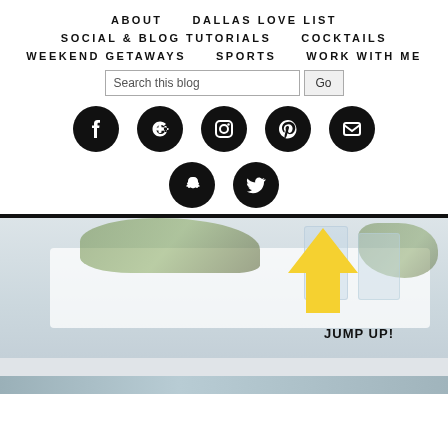ABOUT
DALLAS LOVE LIST
SOCIAL & BLOG TUTORIALS
COCKTAILS
WEEKEND GETAWAYS
SPORTS
WORK WITH ME
[Figure (screenshot): Search bar with text 'Search this blog' and a Go button]
[Figure (screenshot): Social media icons row 1: Facebook, Google+, Instagram, Pinterest, Email]
[Figure (screenshot): Social media icons row 2: Snapchat, Twitter]
[Figure (photo): Blurred lifestyle photo with greenery and glasses on a white surface, with a yellow upward arrow overlay and text JUMP UP!]